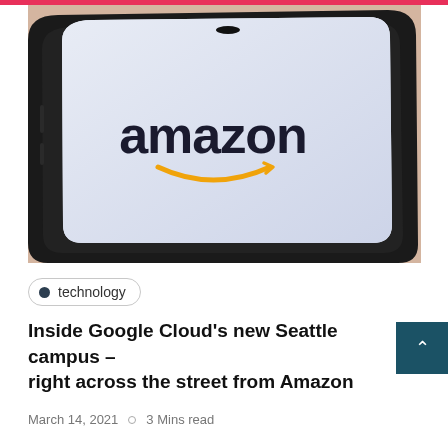[Figure (photo): A Samsung smartphone lying on a beige/tan surface, screen lit up showing the Amazon logo with orange smile arrow on a white/light blue background]
technology
Inside Google Cloud's new Seattle campus – right across the street from Amazon
March 14, 2021  o  3 Mins read